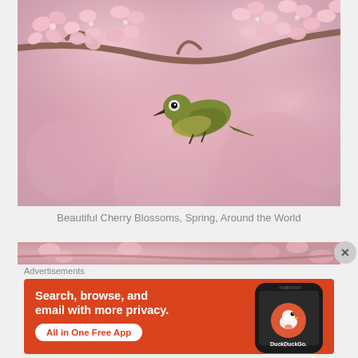[Figure (photo): A small green Japanese white-eye bird perched on a cherry blossom branch with pink flowers, soft bokeh background of pink blossoms]
Beautiful Cherry Blossoms, Spring, Around the World
[Figure (photo): Partial banner image of cherry blossom branches, used as advertisement banner background]
Advertisements
[Figure (screenshot): DuckDuckGo advertisement on orange background with text: Search, browse, and email with more privacy. All in One Free App. Shows a phone with DuckDuckGo logo and wordmark.]